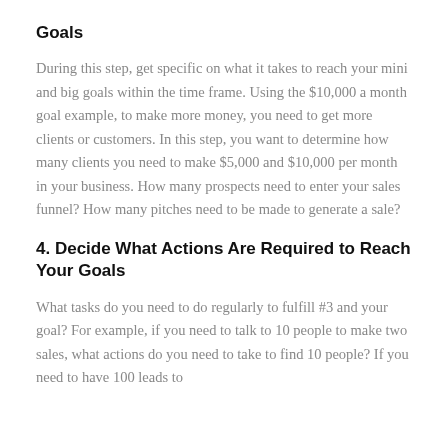Goals
During this step, get specific on what it takes to reach your mini and big goals within the time frame. Using the $10,000 a month goal example, to make more money, you need to get more clients or customers. In this step, you want to determine how many clients you need to make $5,000 and $10,000 per month in your business. How many prospects need to enter your sales funnel? How many pitches need to be made to generate a sale?
4. Decide What Actions Are Required to Reach Your Goals
What tasks do you need to do regularly to fulfill #3 and your goal? For example, if you need to talk to 10 people to make two sales, what actions do you need to take to find 10 people? If you need to have 100 leads to